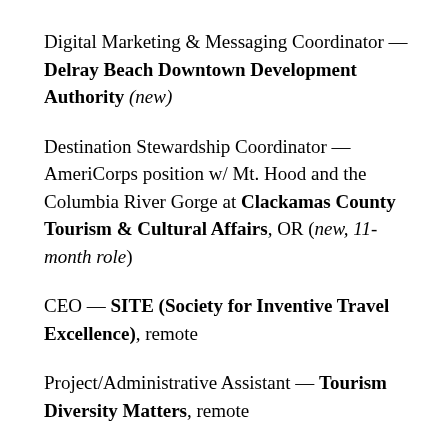Digital Marketing & Messaging Coordinator — Delray Beach Downtown Development Authority (new)
Destination Stewardship Coordinator — AmeriCorps position w/ Mt. Hood and the Columbia River Gorge at Clackamas County Tourism & Cultural Affairs, OR (new, 11-month role)
CEO — SITE (Society for Inventive Travel Excellence), remote
Project/Administrative Assistant — Tourism Diversity Matters, remote